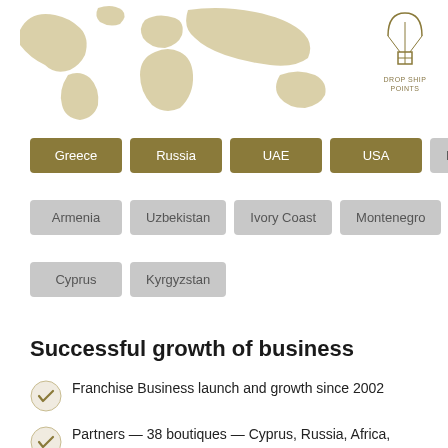[Figure (map): World map silhouette in beige/tan color showing global presence]
[Figure (illustration): Drop ship points icon: parachute with box package, gold outline style, labeled DROP SHIP POINTS]
Greece
Russia
UAE
USA
Kazakhstan
Armenia
Uzbekistan
Ivory Coast
Montenegro
Cyprus
Kyrgyzstan
Successful growth of business
Franchise Business launch and growth since 2002
Partners — 38 boutiques — Cyprus, Russia, Africa, Kazakhstan, Uzbekistan, etc.
Since 1998: More than 140 retail boutiques